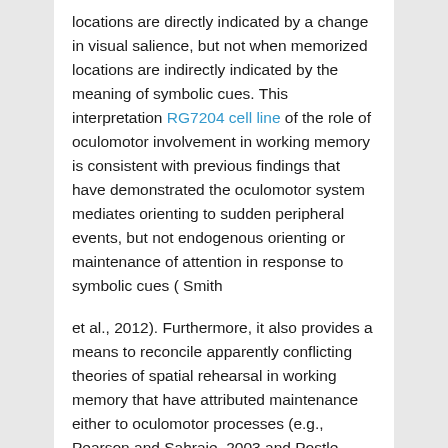locations are directly indicated by a change in visual salience, but not when memorized locations are indirectly indicated by the meaning of symbolic cues. This interpretation RG7204 cell line of the role of oculomotor involvement in working memory is consistent with previous findings that have demonstrated the oculomotor system mediates orienting to sudden peripheral events, but not endogenous orienting or maintenance of attention in response to symbolic cues ( Smith

et al., 2012). Furthermore, it also provides a means to reconcile apparently conflicting theories of spatial rehearsal in working memory that have attributed maintenance either to oculomotor processes (e.g., Pearson and Sahraie, 2003 and Postle Cobimetinib et al., 2006) or to higher-level attentional processes (e.g., Awh, Vogel, & Oh, 2006). We argue that spatial memory tasks in which memoranda are directly dipyridamole signaled by a change in visual salience involve a critical contribution from the oculomotor system during the encoding and maintenance of to-be-remembered location, while spatial